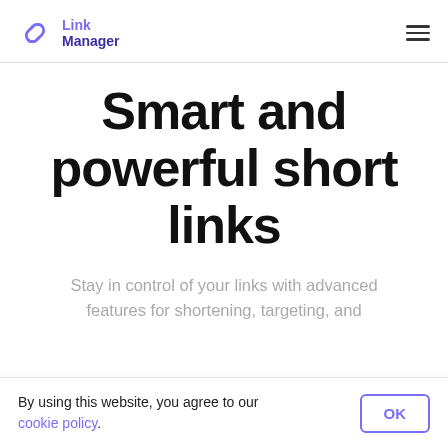Link Manager
Smart and powerful short links
Stay in control of your links with advanced features for shortening, targeting, and
By using this website, you agree to our cookie policy.